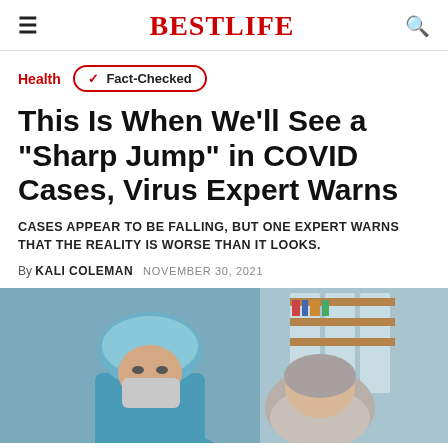BESTLIFE
Health   ✓ Fact-Checked
This Is When We'll See a "Sharp Jump" in COVID Cases, Virus Expert Warns
CASES APPEAR TO BE FALLING, BUT ONE EXPERT WARNS THAT THE REALITY IS WORSE THAN IT LOOKS.
By KALI COLEMAN   NOVEMBER 30, 2021
[Figure (photo): A masked healthcare worker in blue scrubs and a hair net leaning over a patient with gray hair in a clinical setting]